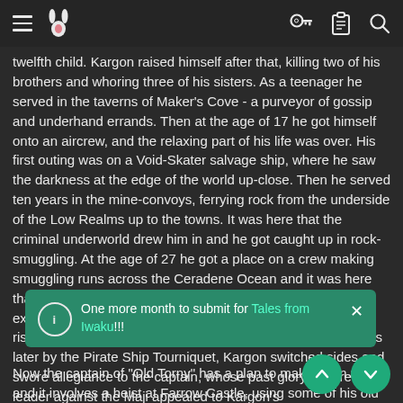[navigation header with menu, rabbit icon, key, clipboard, search icons]
twelfth child. Kargon raised himself after that, killing two of his brothers and whoring three of his sisters. As a teenager he served in the taverns of Maker's Cove - a purveyor of gossip and underhand errands. Then at the age of 17 he got himself onto an aircrew, and the relaxing part of his life was over. His first outing was on a Void-Skater salvage ship, where he saw the darkness at the edge of the world up-close. Then he served ten years in the mine-convoys, ferrying rock from the underside of the Low Realms up to the towns. It was here that the criminal underworld drew him in and he got caught up in rock-smuggling. At the age of 27 he got a place on a crew making smuggling runs across the Ceradene Ocean and it was here that he almost drowned. After surviving his near-death experience he was never the same and he tipped further into risk and violence. When the ocean routes were raided 5 years later by the Pirate Ship Tourniquet, Kargon switched sides and swore allegiance to the captain, whose past glory as a rebel leader against the Maji appealed to Kargon's se[...] tal finesse he sh[...] er the next 8 years.
One more month to submit for Tales from Iwaku!!!
Now the captain of "Old Torny" has a plan to make them rich, and it involves a heist at Farrow Castle, using some of his old rebel...